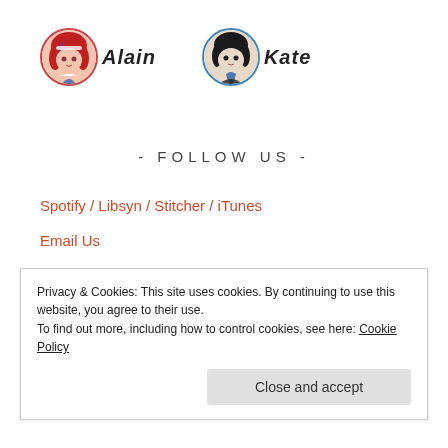[Figure (illustration): Two circular anime-style avatar icons: Alain (red/pink hair, maid outfit) and Kate (dark hair, dark outfit), each with their name in stylized italic font beside them.]
- FOLLOW US -
Spotify / Libsyn / Stitcher / iTunes
Email Us
Join Our Discord
Twitter: Alain / Kate
- RECENT CASES -
Privacy & Cookies: This site uses cookies. By continuing to use this website, you agree to their use. To find out more, including how to control cookies, see here: Cookie Policy
Close and accept